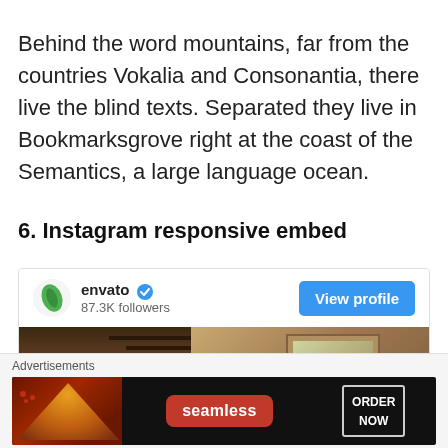Behind the word mountains, far from the countries Vokalia and Consonantia, there live the blind texts. Separated they live in Bookmarksgrove right at the coast of the Semantics, a large language ocean.
6. Instagram responsive embed
[Figure (screenshot): Instagram embed widget showing envato account with 87.3K followers and a View profile button, with a photo of an interior staircase below]
[Figure (screenshot): Advertisements banner for Seamless food ordering with pizza image and ORDER NOW button]